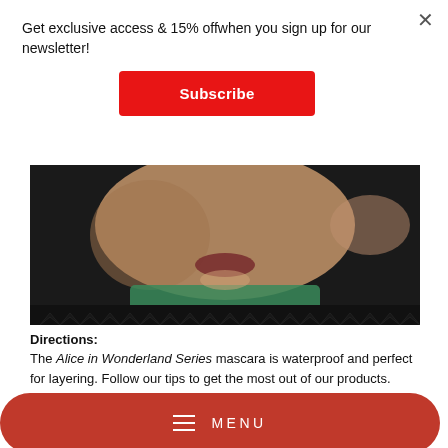Get exclusive access & 15% offwhen you sign up for our newsletter!
Subscribe
[Figure (photo): Close-up of a woman's face with makeup, wearing green clothing, with a decorative diamond pattern border at the bottom]
Directions:
The Alice in Wonderland Series mascara is waterproof and perfect for layering. Follow our tips to get the most out of our products.
[Figure (screenshot): Makeup Tutorial title card with dark background and gold text]
MENU